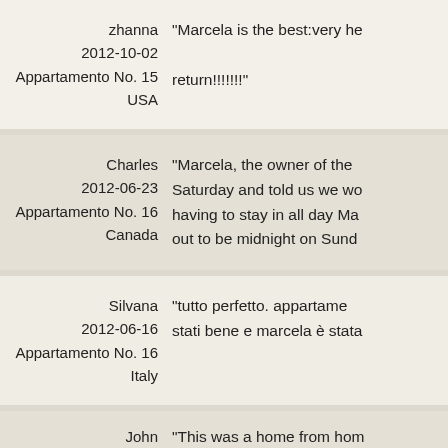zhanna
2012-10-02
Appartamento No. 15
USA
"Marcela is the best:very he return!!!!!!!"
Charles
2012-06-23
Appartamento No. 16
Canada
"Marcela, the owner of the Saturday and told us we wo having to stay in all day Ma out to be midnight on Sund
Silvana
2012-06-16
Appartamento No. 16
Italy
"tutto perfetto. appartame stati bene e marcela è stata
John
2012-06-10
"This was a home from hom